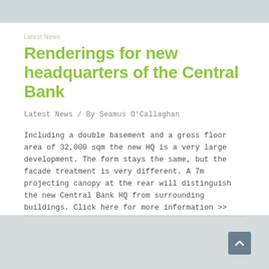Renderings for new headquarters of the Central Bank
Latest News / By Seamus O'Callaghan
Including a double basement and a gross floor area of 32,000 sqm the new HQ is a very large development. The form stays the same, but the facade treatment is very different. A 7m projecting canopy at the rear will distinguish the new Central Bank HQ from surrounding buildings. Click here for more information >>